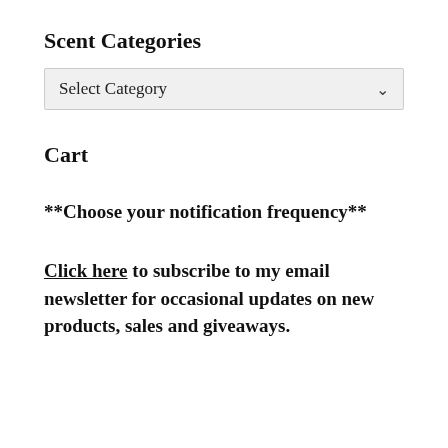Scent Categories
[Figure (screenshot): Dropdown UI element with label 'Select Category' and a chevron arrow on the right, styled with a light grey background]
Cart
**Choose your notification frequency**
Click here to subscribe to my email newsletter for occasional updates on new products, sales and giveaways.